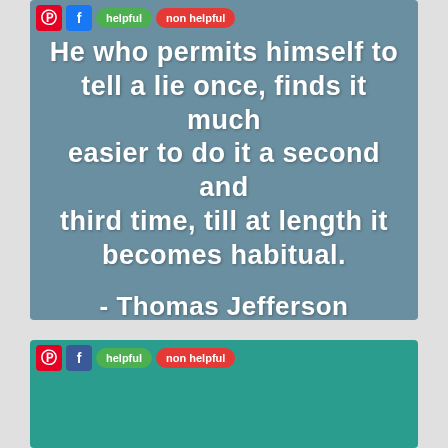[Figure (screenshot): Quote card with steel-blue background showing a Thomas Jefferson quote in bold white text: 'He who permits himself to tell a lie once, finds it much easier to do it a second and third time, till at length it becomes habitual. - Thomas Jefferson'. Social sharing buttons (Pinterest, Facebook, helpful, non helpful) appear in the top-left corner.]
[Figure (screenshot): A second quote card with teal/dark-cyan background, showing only the social sharing buttons (Pinterest, Facebook, helpful, non helpful) in the top-left corner. The card body is otherwise empty/blank (the quote content is cut off or not visible).]